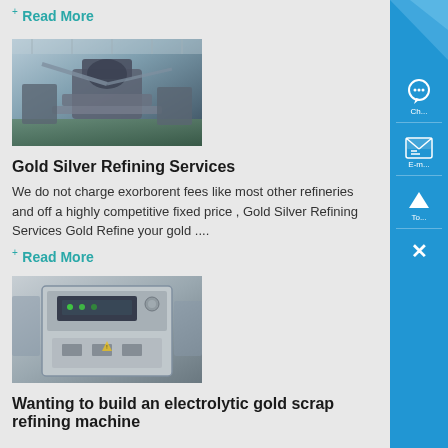+ Read More
[Figure (photo): Industrial machinery / gold refining equipment in a factory setting]
Gold Silver Refining Services
We do not charge exorborent fees like most other refineries and off a highly competitive fixed price , Gold Silver Refining Services Gold Refine your gold ....
+ Read More
[Figure (photo): Electrolytic gold scrap refining machine — electrical cabinet/control box]
Wanting to build an electrolytic gold scrap refining machine